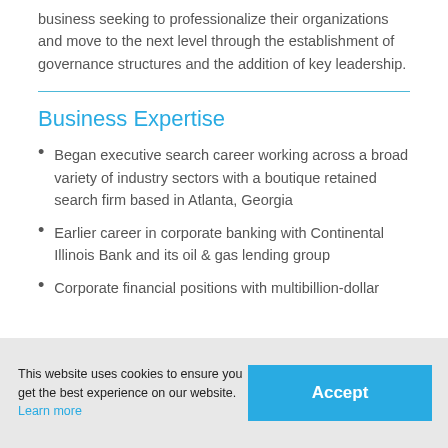business seeking to professionalize their organizations and move to the next level through the establishment of governance structures and the addition of key leadership.
Business Expertise
Began executive search career working across a broad variety of industry sectors with a boutique retained search firm based in Atlanta, Georgia
Earlier career in corporate banking with Continental Illinois Bank and its oil & gas lending group
Corporate financial positions with multibillion-dollar
This website uses cookies to ensure you get the best experience on our website. Learn more
Accept